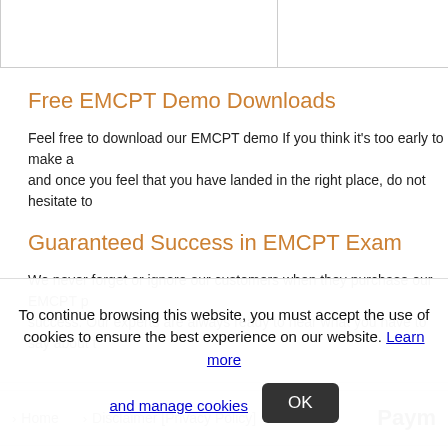Free EMCPT Demo Downloads
Feel free to download our EMCPT demo If you think it's too early to make a and once you feel that you have landed in the right place, do not hesitate to
Guaranteed Success in EMCPT Exam
We never forget or ignore our customers when they purchase our EMCPT p success. Our experts are always ready to hear what you have to say about t
› Home  › Disclaimer [Privacy Policy]  Paym
To continue browsing this website, you must accept the use of cookies to ensure the best experience on our website. Learn more and manage cookies OK